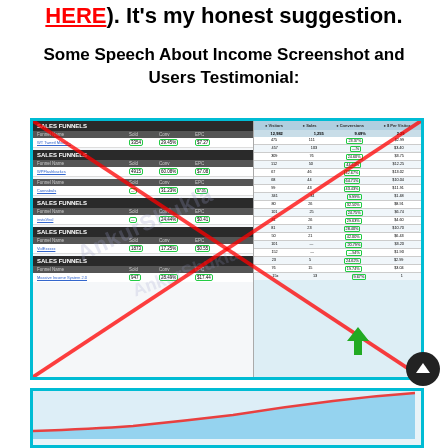HERE). It's my honest suggestion.
Some Speech About Income Screenshot and Users Testimonial:
[Figure (screenshot): Screenshot of a Sales Funnels affiliate marketing dashboard showing multiple sales funnel entries with columns for Funnel Name, Sold, Conv, and EPC. Values include 3354 sales at 29.45% conv at $7.27 EPC, 4915 at 60.08% at $7.08, entries for Cannabals at 31.23%, InstaViral at 24.44% at $0.41, VidExxxxx at 17.25% at $0.55, and Massive Income System 2.0 at 947 sold 28.49% at $17.44. Right side shows visitor/sales/conversions data. Large red X crosses through the image. Green boxes highlight key data. A green arrow points upward at conversion column.]
[Figure (screenshot): Partial screenshot of a line chart at the bottom of the page, showing an upward trending red/orange line on a blue/white background.]